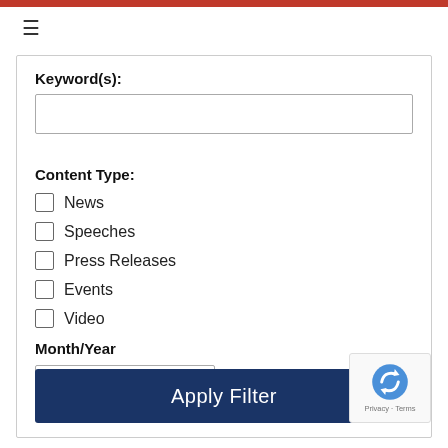≡
Keyword(s):
Content Type:
News
Speeches
Press Releases
Events
Video
Month/Year
Apply Filter